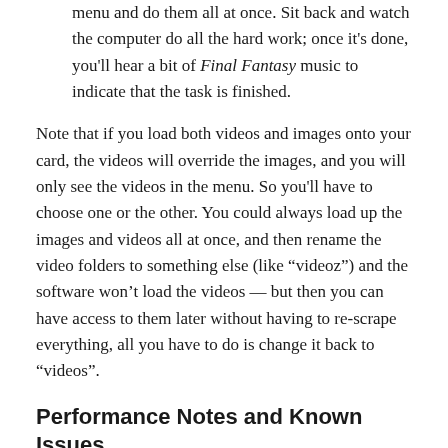menu and do them all at once. Sit back and watch the computer do all the hard work; once it's done, you'll hear a bit of Final Fantasy music to indicate that the task is finished.
Note that if you load both videos and images onto your card, the videos will override the images, and you will only see the videos in the menu. So you'll have to choose one or the other. You could always load up the images and videos all at once, and then rename the video folders to something else (like "videoz") and the software won't load the videos — but then you can have access to them later without having to re-scrape everything, all you have to do is change it back to "videos".
Performance Notes and Known Issues
Sony PSP: You will need to remap the face button controls in the PPSSPP emulator. By default, it is set to 2x PSP resolution,